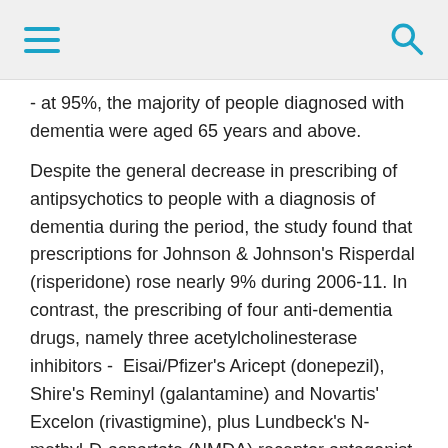[hamburger menu icon] [search icon]
- at 95%, the majority of people diagnosed with dementia were aged 65 years and above.
Despite the general decrease in prescribing of antipsychotics to people with a diagnosis of dementia during the period, the study found that prescriptions for Johnson & Johnson's Risperdal (risperidone) rose nearly 9% during 2006-11. In contrast, the prescribing of four anti-dementia drugs, namely three acetylcholinesterase inhibitors -  Eisai/Pfizer's Aricept (donepezil), Shire's Reminyl (galantamine) and Novartis' Excelon (rivastigmine), plus Lundbeck's N-methyl-D-aspartate (NMDA) receptor antagonist